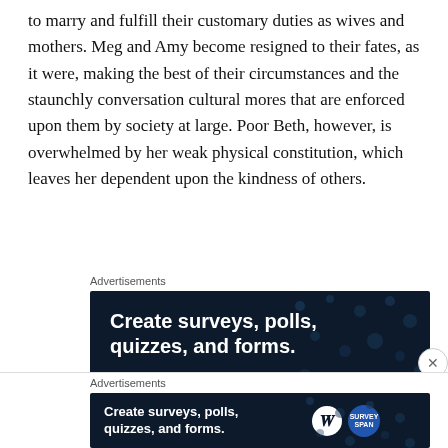to marry and fulfill their customary duties as wives and mothers. Meg and Amy become resigned to their fates, as it were, making the best of their circumstances and the staunchly conversation cultural mores that are enforced upon them by society at large. Poor Beth, however, is overwhelmed by her weak physical constitution, which leaves her dependent upon the kindness of others.
Advertisements
[Figure (screenshot): Dark navy advertisement banner with white bold text: 'Create surveys, polls, quizzes, and forms.' with a pink button at the bottom.]
Advertisements
[Figure (screenshot): Small dark navy advertisement banner with white bold text: 'Create surveys, polls, quizzes, and forms.' with WordPress and SurveyMonkey icons on the right.]